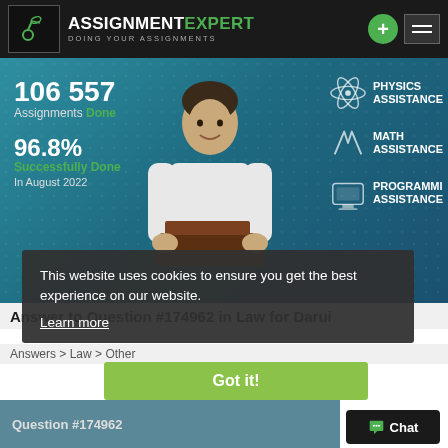ASSIGNMENTEXPERT DOING YOUR ASSIGNMENTS
[Figure (screenshot): AssignmentExpert website hero section showing stats: 106 557 Assignments Done, 96.8% Successfully Done In August 2022, with icons for Physics Assistance, Math Assistance, Programming Assistance, and a photo of a man with books]
This website uses cookies to ensure you get the best experience on our website.
Learn more
Answer to Question #174962 in Law for Darui
Answers > Law > Other
Question #174962
Got it!